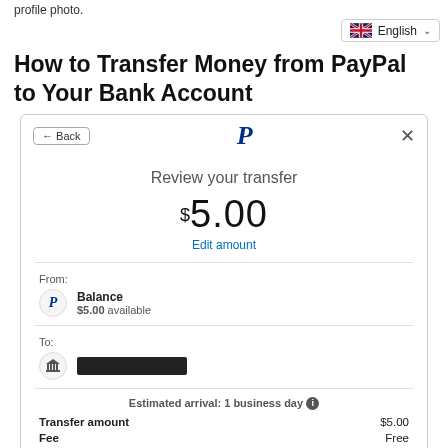profile photo.
[Figure (screenshot): English language selector with UK flag and dropdown chevron]
How to Transfer Money from PayPal to Your Bank Account
[Figure (screenshot): PayPal 'Review your transfer' modal dialog showing $5.00 transfer amount, Edit amount link, From: Balance ($5.00 available), To: redacted bank account, Estimated arrival: 1 business day with info icon, Transfer amount $5.00, Fee: Free]
|  |  |
| --- | --- |
| Transfer amount | $5.00 |
| Fee | Free |